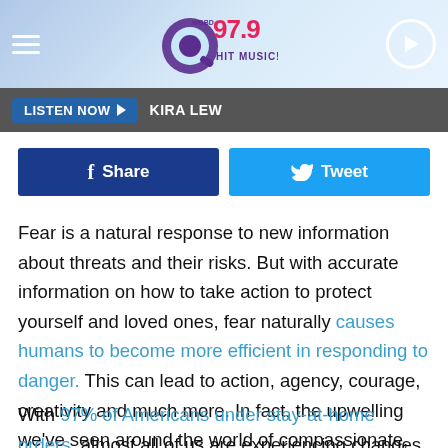[Figure (screenshot): Q97.9 Hit Music radio station header with hamburger menu, logo, and play button on a light blue background]
LISTEN NOW  KIRA LEW
Share   Tweet
Fear is a natural response to new information about threats and their risks. But with accurate information on how to take action to protect yourself and loved ones, fear naturally causes humans to become more efficient in responding to danger. This can lead to action, agency, courage, creativity and much more. In fact, the upwelling we've seen around the world of compassionate, urgent, and brave responses to the pandemic is part of this process.
With 97% of Americans under stay-at-home orders, almost all of us are experiencing changes to daily life we couldn't have